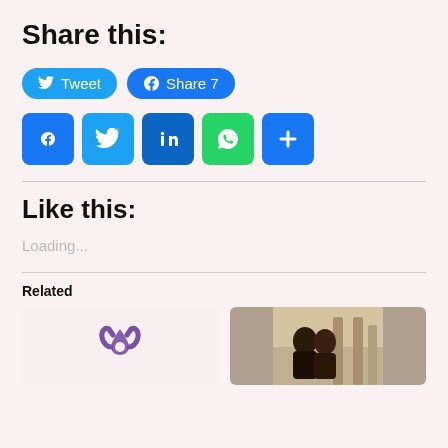Share this:
[Figure (infographic): Social share buttons: Tweet (Twitter, blue pill button) and Share 7 (Facebook, blue pill button)]
[Figure (infographic): Social media icon buttons row: Facebook (blue), Twitter (light blue), LinkedIn (dark blue), WhatsApp (green), More/Share (blue plus sign)]
Like this:
Loading...
Related
[Figure (illustration): Purple nuclear/recycling style icon on white card background]
[Figure (photo): Two men outdoors near columns, photo card]